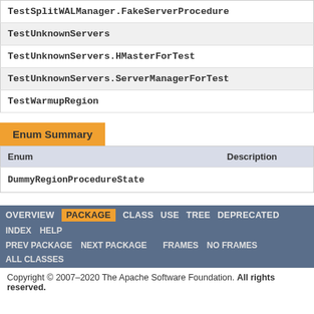| TestSplitWALManager.FakeServerProcedure |
| TestUnknownServers |
| TestUnknownServers.HMasterForTest |
| TestUnknownServers.ServerManagerForTest |
| TestWarmupRegion |
Enum Summary
| Enum | Description |
| --- | --- |
| DummyRegionProcedureState |  |
OVERVIEW  PACKAGE  CLASS  USE  TREE  DEPRECATED  INDEX  HELP  PREV PACKAGE  NEXT PACKAGE  FRAMES  NO FRAMES  ALL CLASSES
Copyright © 2007–2020 The Apache Software Foundation. All rights reserved.